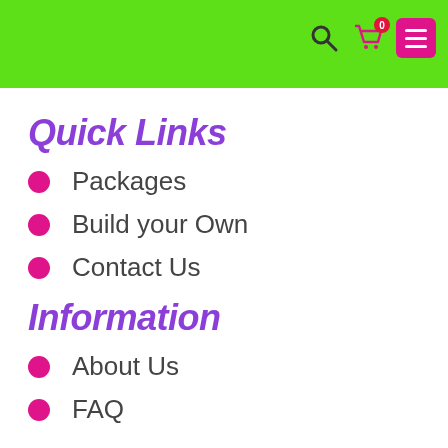Quick Links
Packages
Build your Own
Contact Us
Information
About Us
FAQ